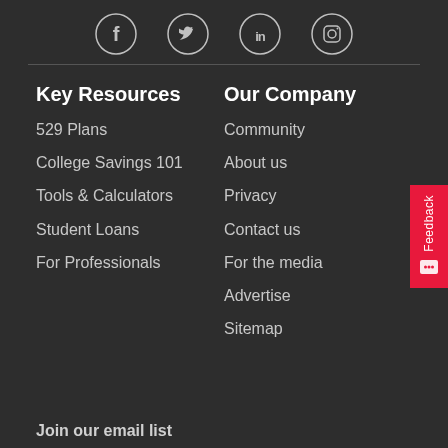[Figure (other): Social media icons: Facebook, Twitter, LinkedIn, Instagram in circles on dark background]
Key Resources
529 Plans
College Savings 101
Tools & Calculators
Student Loans
For Professionals
Our Company
Community
About us
Privacy
Contact us
For the media
Advertise
Sitemap
Join our email list